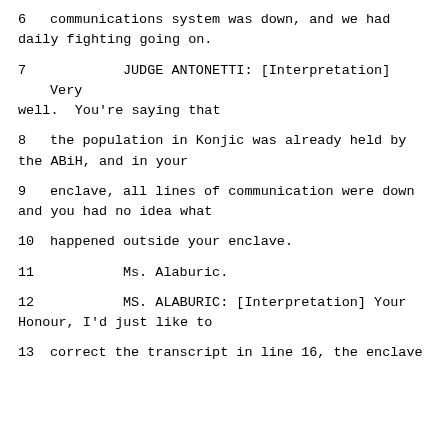6      communications system was down, and we had daily fighting going on.
7              JUDGE ANTONETTI: [Interpretation] Very well.  You're saying that
8      the population in Konjic was already held by the ABiH, and in your
9      enclave, all lines of communication were down and you had no idea what
10      happened outside your enclave.
11              Ms. Alaburic.
12              MS. ALABURIC: [Interpretation] Your Honour, I'd just like to
13      correct the transcript in line 16, the enclave